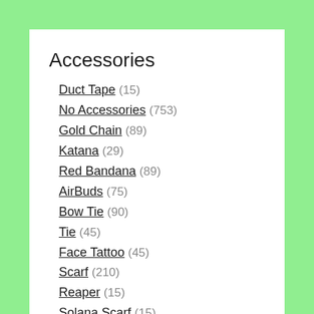Accessories
Duct Tape (15)
No Accessories (753)
Gold Chain (89)
Katana (29)
Red Bandana (89)
AirBuds (75)
Bow Tie (90)
Tie (45)
Face Tattoo (45)
Scarf (210)
Reaper (15)
Solana Scarf (15)
Wings (30)
Hat